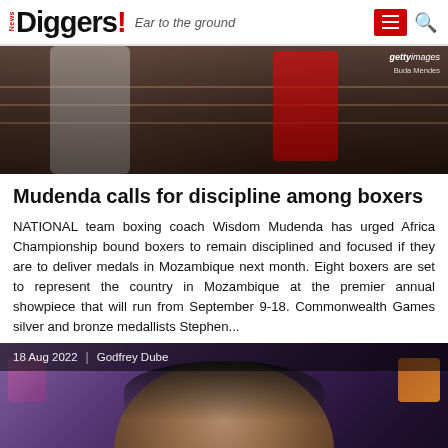News Diggers! Ear to the ground
[Figure (photo): Boxing match photo with a fighter in red gear near ring ropes, Getty Images watermark visible with credit to Buda Mendes]
Mudenda calls for discipline among boxers
NATIONAL team boxing coach Wisdom Mudenda has urged Africa Championship bound boxers to remain disciplined and focused if they are to deliver medals in Mozambique next month. Eight boxers are set to represent the country in Mozambique at the premier annual showpiece that will run from September 9-18. Commonwealth Games silver and bronze medallists Stephen...
[Figure (photo): Portrait of a man wearing a face mask pulled down, dressed in a Zambia national team tracksuit jacket, seated at a press conference table with a microphone. Purple/pink branded backdrops and an Orange telecom sponsor board visible in background.]
18 Aug 2022 | Godfrey Dube